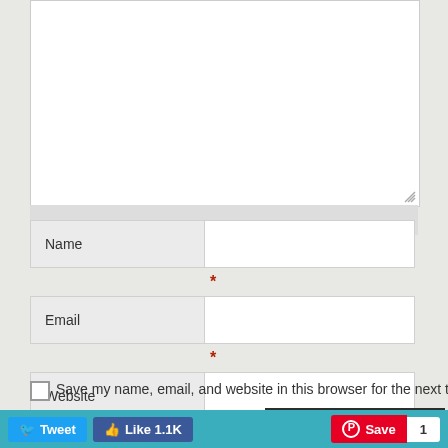[Figure (screenshot): Web comment form with textarea (top, partially visible), Name field with asterisk, Email field with asterisk, Website field, save my name checkbox, Post Comment button, and social sharing bar at bottom with Tweet, Like 1.1K, Save, and count 1 buttons.]
Name
*
Email
*
Website
Save my name, email, and website in this browser for the next time I comment.
Post Comment
Tweet  Like 1.1K  Save  1